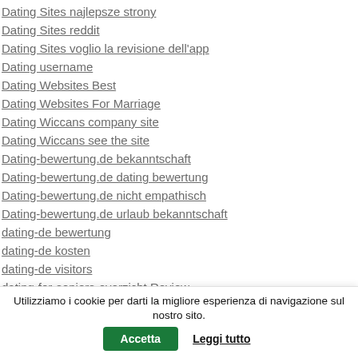Dating Sites najlepsze strony
Dating Sites reddit
Dating Sites voglio la revisione dell'app
Dating username
Dating Websites Best
Dating Websites For Marriage
Dating Wiccans company site
Dating Wiccans see the site
Dating-bewertung.de bekanntschaft
Dating-bewertung.de dating bewertung
Dating-bewertung.de nicht empathisch
Dating-bewertung.de urlaub bekanntschaft
dating-de bewertung
dating-de kosten
dating-de visitors
dating-for-seniors-overzicht Review
Utilizziamo i cookie per darti la migliore esperienza di navigazione sul nostro sito. Accetta Leggi tutto